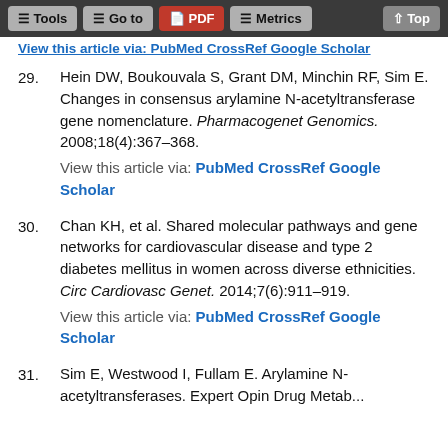Tools | Go to | PDF | Metrics | Top
View this article via: PubMed CrossRef Google Scholar
29. Hein DW, Boukouvala S, Grant DM, Minchin RF, Sim E. Changes in consensus arylamine N-acetyltransferase gene nomenclature. Pharmacogenet Genomics. 2008;18(4):367–368. View this article via: PubMed CrossRef Google Scholar
30. Chan KH, et al. Shared molecular pathways and gene networks for cardiovascular disease and type 2 diabetes mellitus in women across diverse ethnicities. Circ Cardiovasc Genet. 2014;7(6):911–919. View this article via: PubMed CrossRef Google Scholar
31. Sim E, Westwood I, Fullam E. Arylamine N-acetyltransferases. Expert Opin Drug Metab...